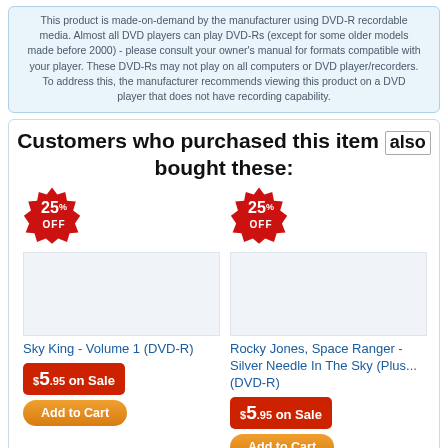This product is made-on-demand by the manufacturer using DVD-R recordable media. Almost all DVD players can play DVD-Rs (except for some older models made before 2000) - please consult your owner's manual for formats compatible with your player. These DVD-Rs may not play on all computers or DVD player/recorders. To address this, the manufacturer recommends viewing this product on a DVD player that does not have recording capability.
Customers who purchased this item also bought these:
Sky King - Volume 1 (DVD-R)
$5.95 on Sale
Add to Cart
Rocky Jones, Space Ranger - Silver Needle In The Sky (Plus... (DVD-R)
$5.95 on Sale
Add to Cart